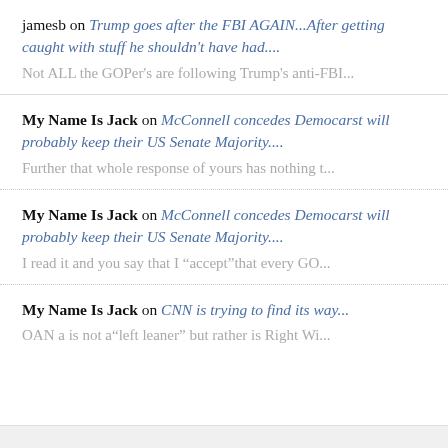jamesb on Trump goes after the FBI AGAIN...After getting caught with stuff he shouldn't have had.... Not ALL the GOPer's are following Trump's anti-FBI...
My Name Is Jack on McConnell concedes Democarst will probably keep their US Senate Majority.... Further that whole response of yours has nothing t...
My Name Is Jack on McConnell concedes Democarst will probably keep their US Senate Majority.... I read it and you say that I "accept"that every GO...
My Name Is Jack on CNN is trying to find its way... OAN a is not a"left leaner" but rather is Right Wi...